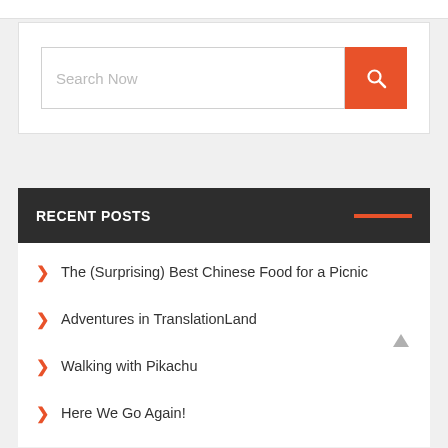[Figure (screenshot): Search input box with placeholder text 'Search Now' and an orange search button with magnifying glass icon]
RECENT POSTS
The (Surprising) Best Chinese Food for a Picnic
Adventures in TranslationLand
Walking with Pikachu
Here We Go Again!